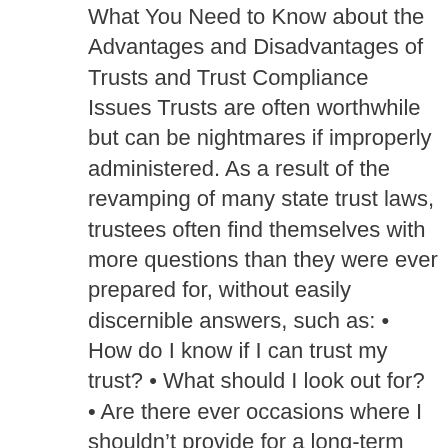What You Need to Know about the Advantages and Disadvantages of Trusts and Trust Compliance Issues Trusts are often worthwhile but can be nightmares if improperly administered. As a result of the revamping of many state trust laws, trustees often find themselves with more questions than they were ever prepared for, without easily discernible answers, such as: • How do I know if I can trust my trust? • What should I look out for? • Are there ever occasions where I shouldn't provide for a long-term trust? • What should I look for when selecting an institutional trustee to administer my trust? • What trustee liability issues should I be aware of? This is the first book of its kind to present answers to questions such as these in an accessible and practical manner, easily understood by you and your trust advisors. It advises you on the benefits—as well as the pitfalls—of acting as a trustee,